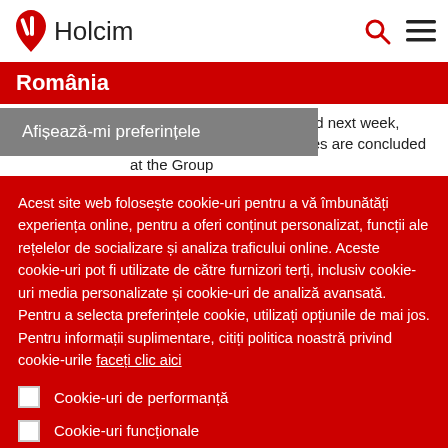[Figure (logo): Holcim logo with red hand/leaf icon and 'Holcim' text]
România
leadership will be announced next week, after the respective measures are concluded at the Group … he aim is to significantly
Afișează-mi preferințele
Acest site web folosește cookie-uri pentru a vă îmbunătăți experiența online, pentru a oferi conținut personalizat, funcții ale rețelelor de socializare și analiza traficului online. Aceste cookie-uri pot fi utilizate de către furnizori terți, inclusiv cookie-uri media personalizate și cookie-uri de analiză avansată. Pentru a selecta preferințele cookie, utilizați opțiunile de mai jos. Pentru informații suplimentare, citiți politica noastră privind cookie-urile faceți clic aici
Cookie-uri de performanță
Cookie-uri funcționale
Cookie-uri de direcționare
Cookie-uri de social media
Salvați-mi preferințele
Acceptați toate cookie-urile